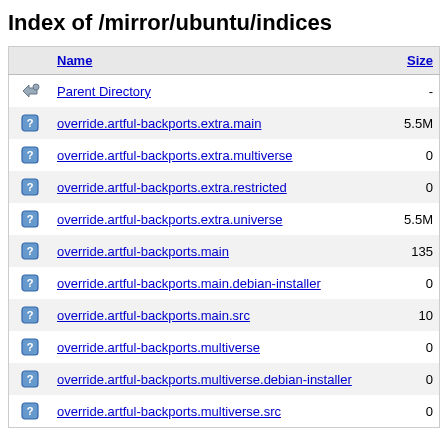Index of /mirror/ubuntu/indices
|  | Name | Size |
| --- | --- | --- |
| [PARENTDIR] | Parent Directory | - |
| [   ] | override.artful-backports.extra.main | 5.5M |
| [   ] | override.artful-backports.extra.multiverse | 0 |
| [   ] | override.artful-backports.extra.restricted | 0 |
| [   ] | override.artful-backports.extra.universe | 5.5M |
| [   ] | override.artful-backports.main | 135 |
| [   ] | override.artful-backports.main.debian-installer | 0 |
| [   ] | override.artful-backports.main.src | 10 |
| [   ] | override.artful-backports.multiverse | 0 |
| [   ] | override.artful-backports.multiverse.debian-installer | 0 |
| [   ] | override.artful-backports.multiverse.src | 0 |